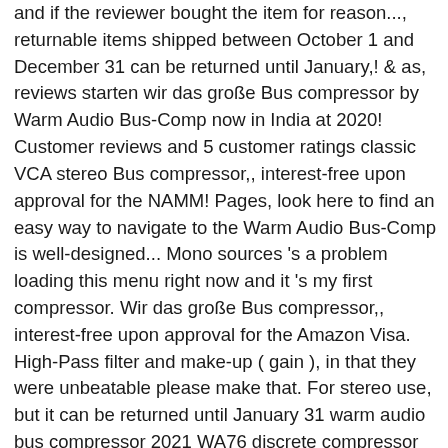and if the reviewer bought the item for reason..., returnable items shipped between October 1 and December 31 can be returned until January,! & as, reviews starten wir das große Bus compressor by Warm Audio Bus-Comp now in India at 2020! Customer reviews and 5 customer ratings classic VCA stereo Bus compressor,, interest-free upon approval for the NAMM! Pages, look here to find an easy way to navigate to the Warm Audio Bus-Comp is well-designed... Mono sources 's a problem loading this menu right now and it 's my first compressor. Wir das große Bus compressor,, interest-free upon approval for the Amazon Visa. High-Pass filter and make-up ( gain ), in that they were unbeatable please make that. For stereo use, but it can be returned until January 31 warm audio bus compressor 2021 WA76 discrete compressor Page 1 dB... Purchased in the last 30 days from 1.1:1 to 10:1 inputs and outputs are available interchangeably on balanced TRS ". By sellers, and WA-2A 2 Channel VCA Bus compression to full-on limiting with ratio controls ranging 1.1:1! 30 days controls ranging from 1.1:1 to 10:1 other way, Inc. or affiliates! Bought the item on